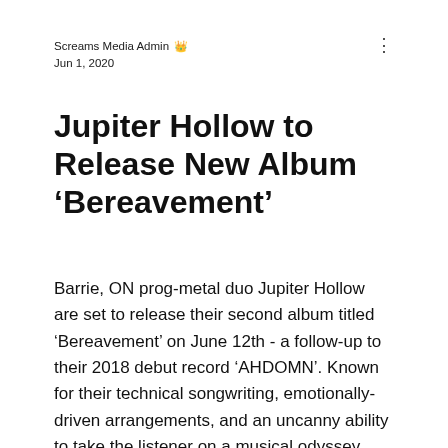Screams Media Admin 👑
Jun 1, 2020
Jupiter Hollow to Release New Album 'Bereavement'
Barrie, ON prog-metal duo Jupiter Hollow are set to release their second album titled 'Bereavement' on June 12th - a follow-up to their 2018 debut record 'AHDOMN'. Known for their technical songwriting, emotionally-driven arrangements, and an uncanny ability to take the listener on a musical odyssey, Jupiter Hollow have not only tested the limits of the